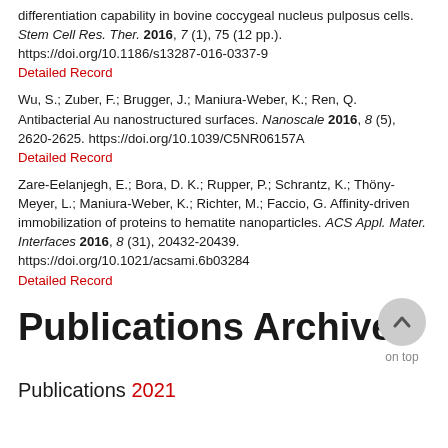differentiation capability in bovine coccygeal nucleus pulposus cells. Stem Cell Res. Ther. 2016, 7(1), 75 (12 pp.). https://doi.org/10.1186/s13287-016-0337-9
Detailed Record
Wu, S.; Zuber, F.; Brugger, J.; Maniura-Weber, K.; Ren, Q. Antibacterial Au nanostructured surfaces. Nanoscale 2016, 8 (5), 2620-2625. https://doi.org/10.1039/C5NR06157A
Detailed Record
Zare-Eelanjegh, E.; Bora, D. K.; Rupper, P.; Schrantz, K.; Thöny-Meyer, L.; Maniura-Weber, K.; Richter, M.; Faccio, G. Affinity-driven immobilization of proteins to hematite nanoparticles. ACS Appl. Mater. Interfaces 2016, 8 (31), 20432-20439. https://doi.org/10.1021/acsami.6b03284
Detailed Record
Publications Archive
Publications 2021